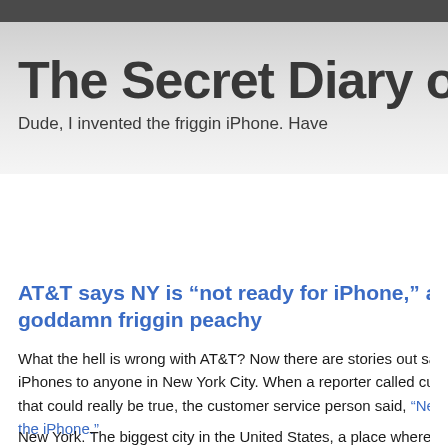The Secret Diary o
Dude, I invented the friggin iPhone. Have
AT&T says NY is “not ready for iPhone,” and goddamn friggin peachy
What the hell is wrong with AT&T? Now there are stories out sa iPhones to anyone in New York City. When a reporter called cu that could really be true, the customer service person said, “Ne the iPhone.”
New York. The biggest city in the United States, a place where